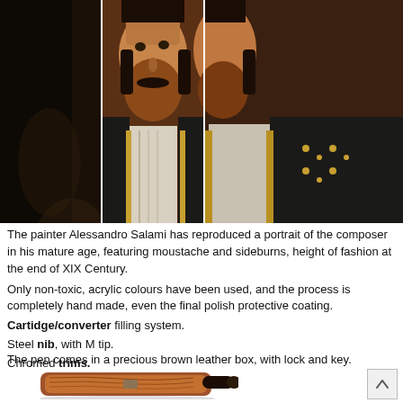[Figure (photo): Three vertical panels showing close-up views of a fountain pen decorated with a painted portrait of a bearded man in 19th century formal attire (composer). The panels show different sections of the pen barrel arranged side by side.]
The painter Alessandro Salami has reproduced a portrait of the composer in his mature age, featuring moustache and sideburns, height of fashion at the end of XIX Century.
Only non-toxic, acrylic colours have been used, and the process is completely hand made, even the final polish protective coating.
Cartidge/converter filling system.
Steel nib, with M tip.
Chromed trims.
The pen comes in a precious brown leather box, with lock and key.
[Figure (photo): A warm brown wooden/leather pen box with a rounded shape and lock, shown from above at a slight angle.]